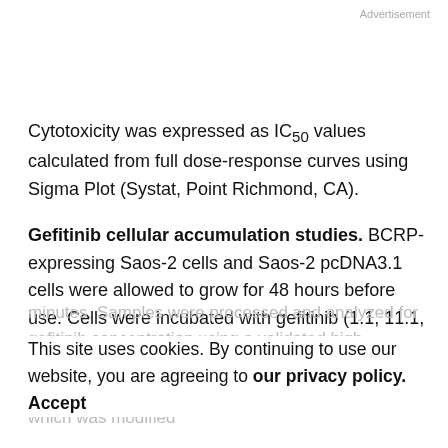Advertisement
Cytotoxicity was expressed as IC50 values calculated from full dose-response curves using Sigma Plot (Systat, Point Richmond, CA).
Gefitinib cellular accumulation studies. BCRP-expressing Saos-2 cells and Saos-2 pcDNA3.1 cells were allowed to grow for 48 hours before use. Cells were incubated with gefitinib (1.1, 11.1, and 22.2 μmol/L) for 60
minutes. Samples were processed and analyzed for gefitinib concentration using a validated high-performance liquid chromatography tandem mass spectrometry (MS/MS) assay method for plasma, which was modified
This site uses cookies. By continuing to use our website, you are agreeing to our privacy policy. Accept